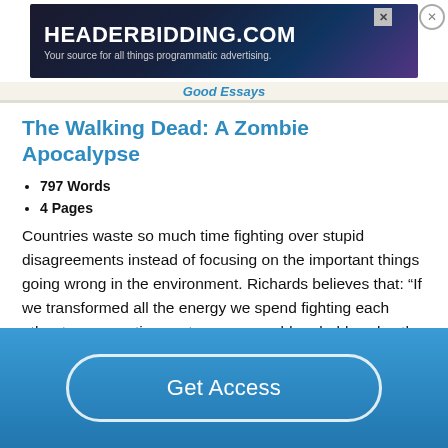[Figure (screenshot): HeaderBidding.com advertisement banner — dark blue/purple gradient background with text 'HEADERBIDDING.COM' and subtitle 'Your source for all things programmatic advertising.']
The Walking Dead: A Zombie Apocalypse
797 Words
4 Pages
Countries waste so much time fighting over stupid disagreements instead of focusing on the important things going wrong in the environment. Richards believes that: “If we transformed all the energy we spend fighting each other to cooperative ventures, we could probably solve the world 's energy crisis, cure disease, and actually have safeguards in place in response to the some of the disasters discussed
Get Access